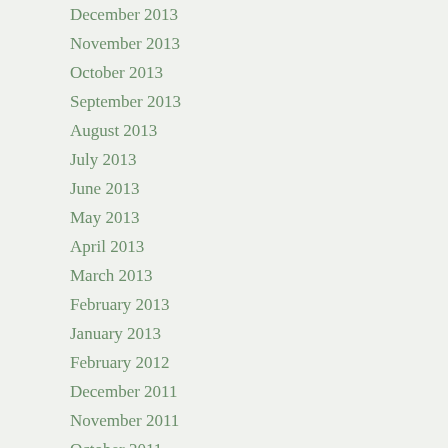December 2013
November 2013
October 2013
September 2013
August 2013
July 2013
June 2013
May 2013
April 2013
March 2013
February 2013
January 2013
February 2012
December 2011
November 2011
October 2011
September 2011